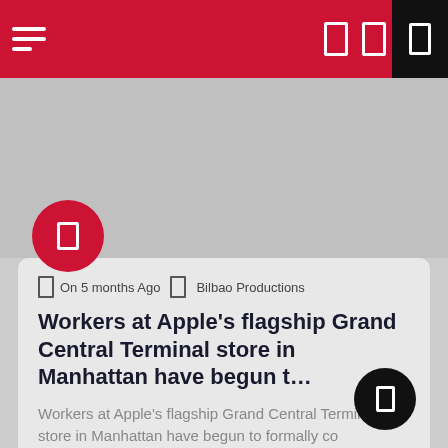Navigation bar with hamburger menu and icons
[Figure (screenshot): Grey placeholder image area below navigation bar]
Workers at Apple's flagship Grand Central Terminal store in Manhattan have begun t…
On 5 months Ago  |  Bilbao Productions
Workers at Apple's flagship Grand Central Terminal store in Manhattan have begun to formally co signatures to form a union (Reed…
Read More